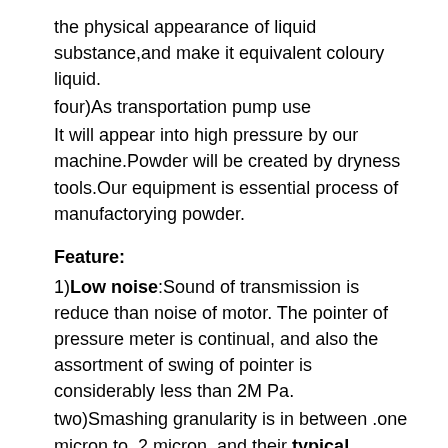the physical appearance of liquid substance,and make it equivalent coloury liquid.
four)As transportation pump use
It will appear into high pressure by our machine.Powder will be created by dryness tools.Our equipment is essential process of manufactorying powder.
Feature:
1)Low noise:Sound of transmission is reduce than noise of motor. The pointer of pressure meter is continual, and also the assortment of swing of pointer is considerably less than 2M Pa.
two)Smashing granularity is in between .one micron to .2 micron, and their typical sizes≤1 micron.
3)CZPT substance can function beneath considerably less than a hundred and fifty°C, and the parts touching material is produced of stainless steel which can remain up to the acid and alkali. All of valves and plungers are manufactured of specific content, so they are sturdy and